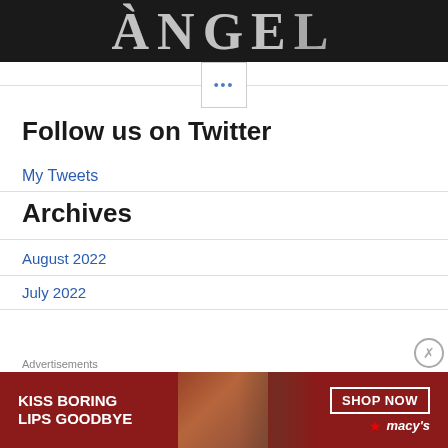[Figure (photo): Dark banner image with large white text 'ANGEL' on black background]
•••
Follow us on Twitter
My Tweets
Archives
August 2022
July 2022
[Figure (photo): Macy's advertisement banner: 'KISS BORING LIPS GOODBYE' with a woman's face and red lips, SHOP NOW button, Macy's star logo]